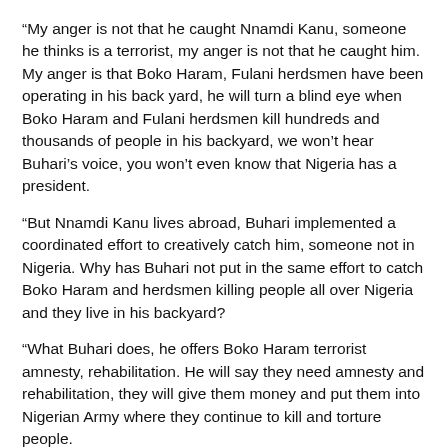“My anger is not that he caught Nnamdi Kanu, someone he thinks is a terrorist, my anger is not that he caught him. My anger is that Boko Haram, Fulani herdsmen have been operating in his back yard, he will turn a blind eye when Boko Haram and Fulani herdsmen kill hundreds and thousands of people in his backyard, we won’t hear Buhari’s voice, you won’t even know that Nigeria has a president.
“But Nnamdi Kanu lives abroad, Buhari implemented a coordinated effort to creatively catch him, someone not in Nigeria. Why has Buhari not put in the same effort to catch Boko Haram and herdsmen killing people all over Nigeria and they live in his backyard?
“What Buhari does, he offers Boko Haram terrorist amnesty, rehabilitation. He will say they need amnesty and rehabilitation, they will give them money and put them into Nigerian Army where they continue to kill and torture people.
“But Nnamdi Kanu, what he has been fighting for, in spite of